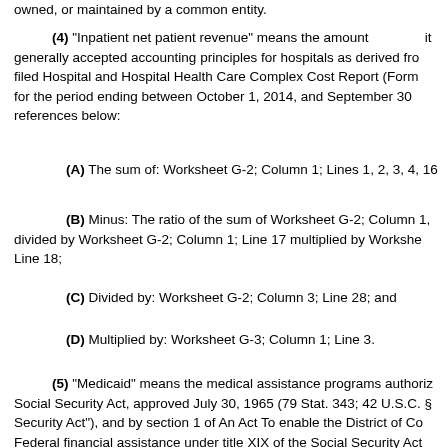owned, or maintained by a common entity.
(4) "Inpatient net patient revenue" means the amount it generally accepted accounting principles for hospitals as derived from filed Hospital and Hospital Health Care Complex Cost Report (Form for the period ending between October 1, 2014, and September 30 references below:
(A) The sum of: Worksheet G-2; Column 1; Lines 1, 2, 3, 4, 16
(B) Minus: The ratio of the sum of Worksheet G-2; Column 1, divided by Worksheet G-2; Column 1; Line 17 multiplied by Worksheet Line 18;
(C) Divided by: Worksheet G-2; Column 3; Line 28; and
(D) Multiplied by: Worksheet G-3; Column 1; Line 3.
(5) "Medicaid" means the medical assistance programs authorized Social Security Act, approved July 30, 1965 (79 Stat. 343; 42 U.S.C. § Security Act"), and by section 1 of An Act To enable the District of Columbia Federal financial assistance under title XIX of the Social Security Act